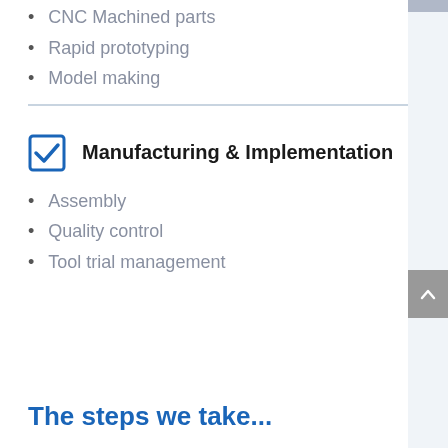CNC Machined parts
Rapid prototyping
Model making
Manufacturing & Implementation
Assembly
Quality control
Tool trial management
The steps we take...